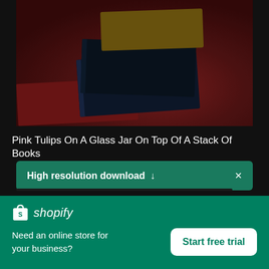[Figure (photo): Stack of books on a dark red/burgundy surface, viewed from above and side angle. Books have dark covers stacked on top of each other.]
Pink Tulips On A Glass Jar On Top Of A Stack Of Books
High resolution download ↓
[Figure (logo): Shopify logo — shopping bag icon with letter S, followed by italic text 'shopify' in white on green background]
Need an online store for your business?
Start free trial